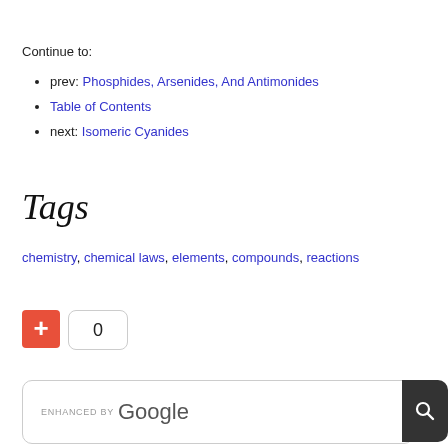Continue to:
prev: Phosphides, Arsenides, And Antimonides
Table of Contents
next: Isomeric Cyanides
Tags
chemistry, chemical laws, elements, compounds, reactions
[Figure (other): Orange plus button with count box showing 0]
[Figure (other): Google search box with ENHANCED BY Google label and search icon button]